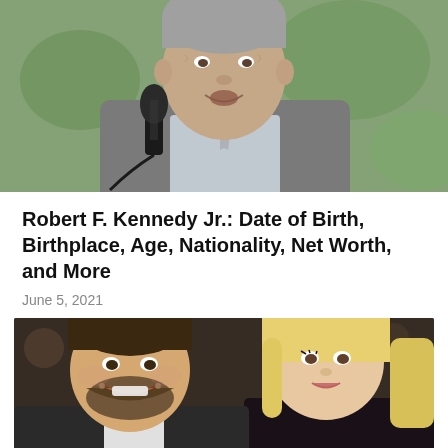[Figure (photo): Older man with gray hair speaking into a black microphone, wearing a gray suit jacket, outdoors with green background]
Robert F. Kennedy Jr.: Date of Birth, Birthplace, Age, Nationality, Net Worth, and More
June 5, 2021
[Figure (photo): Young man with beard smiling next to a blonde woman, appears to be at a social event]